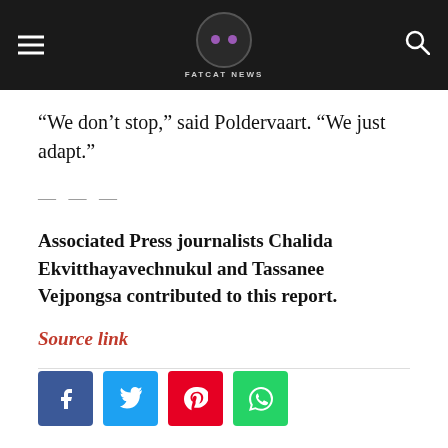FATCAT NEWS
“We don’t stop,” said Poldervaart. “We just adapt.”
— — —
Associated Press journalists Chalida Ekvitthayavechnukul and Tassanee Vejpongsa contributed to this report.
Source link
[Figure (other): Social share buttons: Facebook, Twitter, Pinterest, WhatsApp]